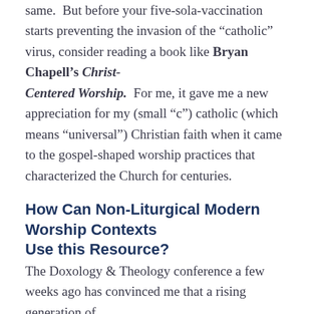same.  But before your five-sola-vaccination starts preventing the invasion of the “catholic” virus, consider reading a book like Bryan Chapell’s Christ-Centered Worship.  For me, it gave me a new appreciation for my (small “c”) catholic (which means “universal”) Christian faith when it came to the gospel-shaped worship practices that characterized the Church for centuries.
How Can Non-Liturgical Modern Worship Contexts Use this Resource?
The Doxology & Theology conference a few weeks ago has convinced me that a rising generation of